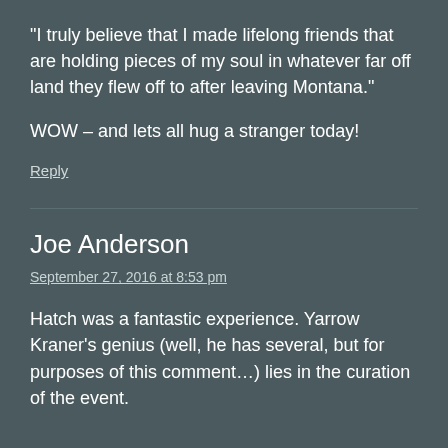“I truly believe that I made lifelong friends that are holding pieces of my soul in whatever far off land they flew off to after leaving Montana.”
WOW – and lets all hug a stranger today!
Reply
Joe Anderson
September 27, 2016 at 8:53 pm
Hatch was a fantastic experience. Yarrow Kraner’s genius (well, he has several, but for purposes of this comment…) lies in the curation of the event.